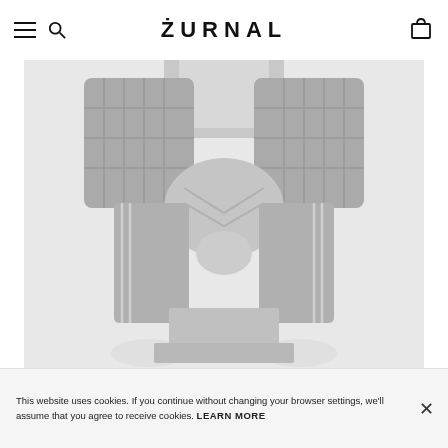ŻURNAL
[Figure (photo): Black and white photograph of a person crouching/squatting, wearing a plaid blazer, white shirt, plaid cropped trousers with stripe detail, and white flat shoes. The person's face is not visible.]
This website uses cookies. If you continue without changing your browser settings, we'll assume that you agree to receive cookies. LEARN MORE